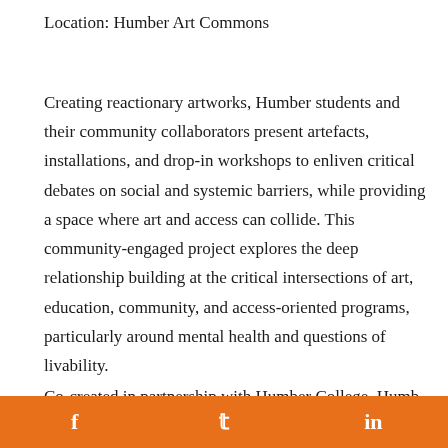Location: Humber Art Commons
Creating reactionary artworks, Humber students and their community collaborators present artefacts, installations, and drop-in workshops to enliven critical debates on social and systemic barriers, while providing a space where art and access can collide. This community-engaged project explores the deep relationship building at the critical intersections of art, education, community, and access-oriented programs, particularly around mental health and questions of livability.
Co-created in partnership with Humber College, Humb...
f   𝕥   in